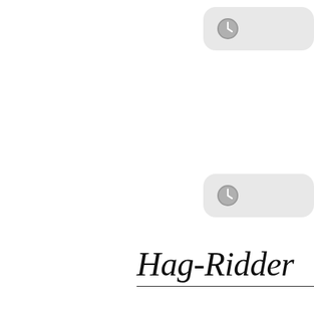[Figure (other): A rounded rectangle loading placeholder bubble with a clock icon, positioned in the upper right area of the page.]
[Figure (other): A second rounded rectangle loading placeholder bubble with a clock icon, positioned in the middle right area of the page.]
Hag-Ridder
'Let me up on your You know those hoisted on their they are not ligh